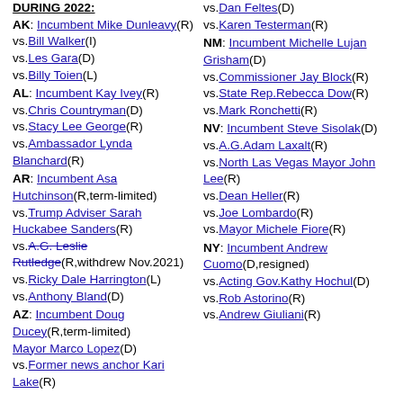DURING 2022: AK: Incumbent Mike Dunleavy(R) vs.Bill Walker(I) vs.Les Gara(D) vs.Billy Toien(L)
AL: Incumbent Kay Ivey(R) vs.Chris Countryman(D) vs.Stacy Lee George(R) vs.Ambassador Lynda Blanchard(R)
AR: Incumbent Asa Hutchinson(R,term-limited) vs.Trump Adviser Sarah Huckabee Sanders(R) vs.A.G. Leslie Rutledge(R,withdrew Nov.2021) vs.Ricky Dale Harrington(L) vs.Anthony Bland(D)
AZ: Incumbent Doug Ducey(R,term-limited) Mayor Marco Lopez(D) vs.Former news anchor Kari Lake(R)
vs.Dan Feltes(D) vs.Karen Testerman(R)
NM: Incumbent Michelle Lujan Grisham(D) vs.Commissioner Jay Block(R) vs.State Rep.Rebecca Dow(R) vs.Mark Ronchetti(R)
NV: Incumbent Steve Sisolak(D) vs.A.G.Adam Laxalt(R) vs.North Las Vegas Mayor John Lee(R) vs.Dean Heller(R) vs.Joe Lombardo(R) vs.Mayor Michele Fiore(R)
NY: Incumbent Andrew Cuomo(D,resigned) vs.Acting Gov.Kathy Hochul(D) vs.Rob Astorino(R) vs.Andrew Giuliani(R)